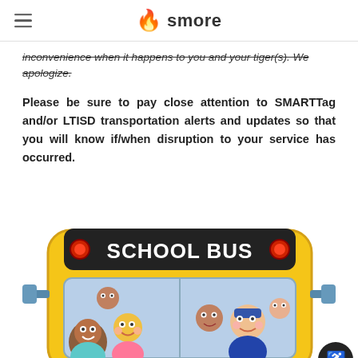smore
inconvenience when it happens to you and your tiger(s). We apologize.
Please be sure to pay close attention to SMARTTag and/or LTISD transportation alerts and updates so that you will know if/when disruption to your service has occurred.
[Figure (illustration): Cartoon school bus illustration showing the front of a yellow school bus with SCHOOL BUS written on a dark marquee at the top, with red lights on either side. Multiple cartoon children and a bus driver are visible through the windshield, smiling.]